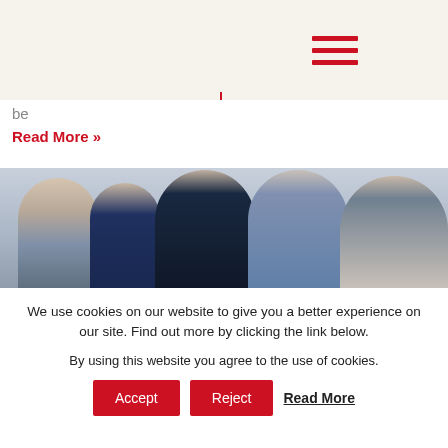[Figure (screenshot): Top navigation area with beige/cream background split into two panels. Left panel is empty. Right panel shows a red hamburger menu icon (three horizontal red lines). A thin vertical red divider line separates the panels.]
be
Read More »
[Figure (photo): A family photo showing multiple adults and a baby, smiling. The image is cropped showing from shoulders up/mid-body. People are wearing casual clothing including denim and light blue shirts. Background is light/white.]
We use cookies on our website to give you a better experience on our site. Find out more by clicking the link below.
By using this website you agree to the use of cookies.
Accept
Reject
Read More